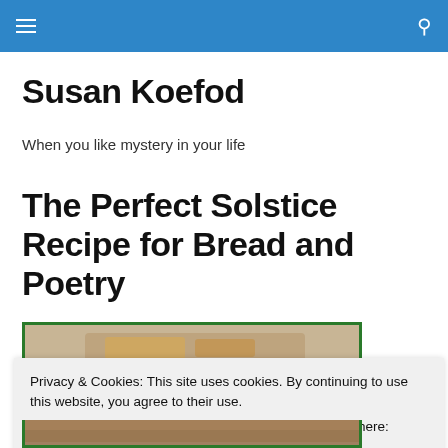Navigation bar with hamburger menu and search icon
Susan Koefod
When you like mystery in your life
The Perfect Solstice Recipe for Bread and Poetry
[Figure (photo): Partial view of a baked bread photo with green border, partially obscured by cookie banner]
Privacy & Cookies: This site uses cookies. By continuing to use this website, you agree to their use.
To find out more, including how to control cookies, see here: Cookie Policy
Close and accept